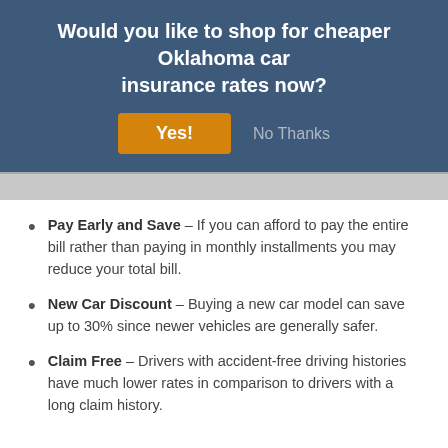Would you like to shop for cheaper Oklahoma car insurance rates now?
[Figure (screenshot): Modal banner with dark blue background showing title text, a yellow 'Yes!' button, and a 'No Thanks' link]
Pay Early and Save – If you can afford to pay the entire bill rather than paying in monthly installments you may reduce your total bill.
New Car Discount – Buying a new car model can save up to 30% since newer vehicles are generally safer.
Claim Free – Drivers with accident-free driving histories have much lower rates in comparison to drivers with a long claim history.